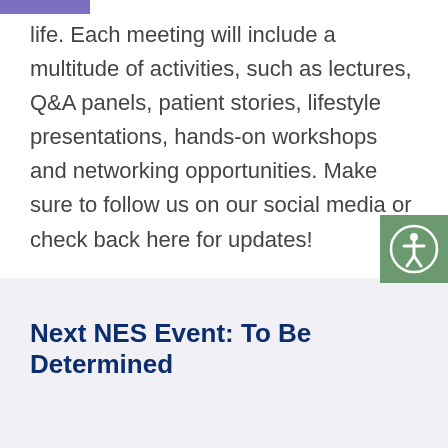life. Each meeting will include a multitude of activities, such as lectures, Q&A panels, patient stories, lifestyle presentations, hands-on workshops and networking opportunities. Make sure to follow us on our social media or check back here for updates!
[Figure (illustration): Accessibility icon button - green square with white human figure in circle]
Next NES Event: To Be Determined